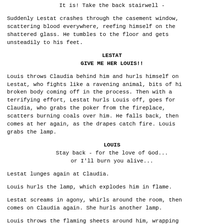It is! Take the back stairwell -
Suddenly Lestat crashes through the casement window, scattering blood everywhere, reefing himself on the shattered glass. He tumbles to the floor and gets unsteadily to his feet.
LESTAT
GIVE ME HER LOUIS!!
Louis throws Claudia behind him and hurls himself on Lestat, who fights like a ravening animal, bits of hi broken body coming off in the process. Then with a terrifying effort, Lestat hurls Louis off, goes for Claudia, who grabs the poker from the fireplace, scatters burning coals over him. He falls back, then comes at her again, as the drapes catch fire. Louis grabs the lamp.
LOUIS
Stay back - for the love of God...
or I'll burn you alive...
Lestat lunges again at Claudia.
Louis hurls the lamp, which explodes him in flame.
Lestat screams in agony, whirls around the room, then comes on Claudia again. She hurls another lamp.
Louis throws the flaming sheets around him, wrapping him further in fire. Lestat falls to his knees.